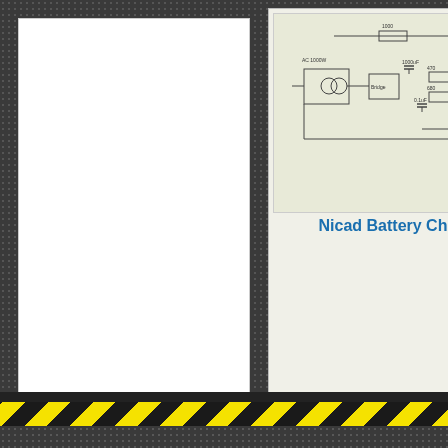[Figure (circuit-diagram): Nicad Battery Charger circuit diagram showing charge rate controller with battery connections]
Nicad Battery Charger
[Figure (circuit-diagram): Partially visible circuit diagram (Di...)]
Di
Important!!!
We are not responsible for any injuries or damage caused by info especially diagrams related to high voltage! We do not guarantee questions about diagrams use author info below diagram or our c
Home
P